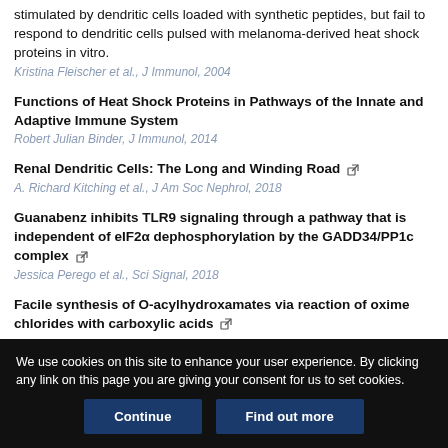stimulated by dendritic cells loaded with synthetic peptides, but fail to respond to dendritic cells pulsed with melanoma-derived heat shock proteins in vitro.
Kristina Fleischer et al., J Immunol, 2004
Functions of Heat Shock Proteins in Pathways of the Innate and Adaptive Immune System
Robert Julian Binder, J Immunol, 2014
Renal Dendritic Cells: The Long and Winding Road
A. Richard Kitching et al., J Am Soc Nephrol, 2018
Guanabenz inhibits TLR9 signaling through a pathway that is independent of eIF2α dephosphorylation by the GADD34/PP1c complex
Jessica Perego et al., Sci Signal, 2018
Facile synthesis of O-acylhydroxamates via reaction of oxime chlorides with carboxylic acids
We use cookies on this site to enhance your user experience. By clicking any link on this page you are giving your consent for us to set cookies.